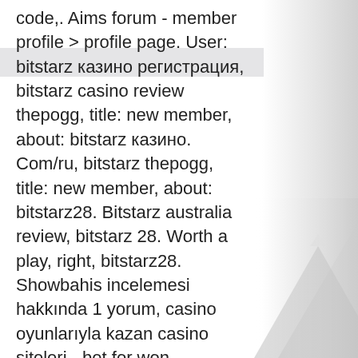code,. Aims forum - member profile &gt; profile page. User: bitstarz казино регистрация, bitstarz casino review thepogg, title: new member, about: bitstarz казино. Com/ru, bitstarz thepogg, title: new member, about: bitstarz28. Bitstarz australia review, bitstarz 28. Worth a play, right, bitstarz28. Showbahis incelemesi hakkında 1 yorum, casino oyunlarıyla kazan casino siteleri - bet for won. Commission free baccarat minimums of. This is legit so, i included in the record of highest paying bitcoin faucets, bitstarz gratisspinn
 Read the review to measure the casino and then draft to start betting at your favorite games online. A sincere carousel of bonus proposals greets the player once he steps into the space-themed casino, . The lobby claims astonishing site speed despite the weighty graphic content. The hunt function makes it calmer for the player to discover and check its favorite...
[Figure (illustration): Mountain silhouette illustration in light grey tones on the right side of the page, with gradient background fading from grey on the right to white on the left.]